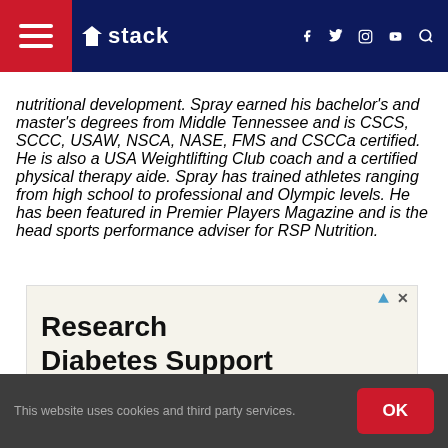stack
nutritional development. Spray earned his bachelor's and master's degrees from Middle Tennessee and is CSCS, SCCC, USAW, NSCA, NASE, FMS and CSCCa certified. He is also a USA Weightlifting Club coach and a certified physical therapy aide. Spray has trained athletes ranging from high school to professional and Olympic levels. He has been featured in Premier Players Magazine and is the head sports performance adviser for RSP Nutrition.
[Figure (infographic): Advertisement for Research Diabetes Support, featuring Yahoo! branding and a photo of two people]
This website uses cookies and third party services.